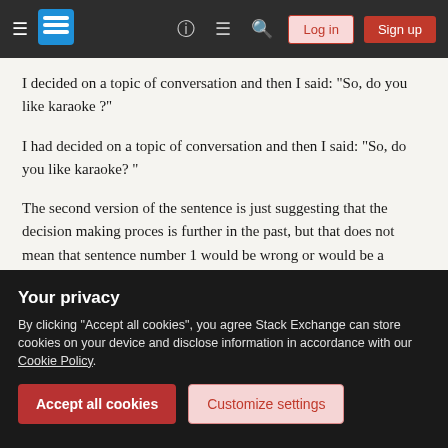Stack Exchange navigation bar with logo, help, chat, search, Log in, Sign up
I decided on a topic of conversation and then I said: "So, do you like karaoke ?"
I had decided on a topic of conversation and then I said: "So, do you like karaoke? "
The second version of the sentence is just suggesting that the decision making proces is further in the past, but that does not mean that sentence number 1 would be wrong or would be a language error.
It is very narrow difference. That is why I prefer to look
Your privacy
By clicking "Accept all cookies", you agree Stack Exchange can store cookies on your device and disclose information in accordance with our Cookie Policy.
Accept all cookies   Customize settings
Karaoke ?"